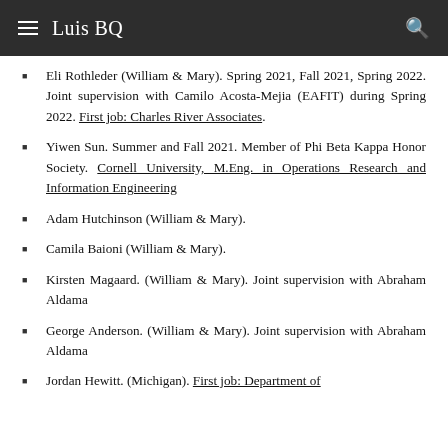Luis BQ
Eli Rothleder (William & Mary). Spring 2021, Fall 2021, Spring 2022. Joint supervision with Camilo Acosta-Mejia (EAFIT) during Spring 2022. First job: Charles River Associates.
Yiwen Sun. Summer and Fall 2021. Member of Phi Beta Kappa Honor Society. Cornell University, M.Eng. in Operations Research and Information Engineering
Adam Hutchinson (William & Mary).
Camila Baioni (William & Mary).
Kirsten Magaard. (William & Mary). Joint supervision with Abraham Aldama
George Anderson. (William & Mary). Joint supervision with Abraham Aldama
Jordan Hewitt. (Michigan). First job: Department of